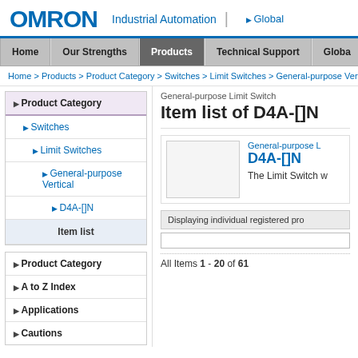OMRON Industrial Automation | Global
Home | Our Strengths | Products | Technical Support | Global
Home > Products > Product Category > Switches > Limit Switches > General-purpose Vertica...
Product Category
Switches
Limit Switches
General-purpose Vertical
D4A-[]N
Item list
Product Category
A to Z Index
Applications
Cautions
General-purpose Limit Switch
Item list of D4A-[]N
General-purpose L D4A-[]N
The Limit Switch w
Displaying individual registered pro
All Items 1 - 20 of 61